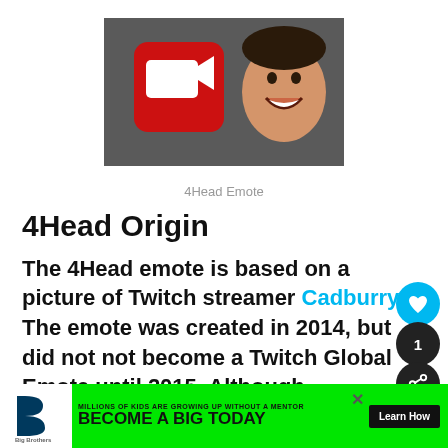[Figure (illustration): Dark gray rectangular image showing a red video camera icon on the left and a smiling man's face on the right, against a dark background]
4Head Emote
4Head Origin
The 4Head emote is based on a picture of Twitch streamer Cadburry. The emote was created in 2014, but did not not become a Twitch Global Emote until 2015. Although C... eau
[Figure (infographic): Advertisement banner: Big Brothers Big Sisters of America ad. Green background. Text: MILLIONS OF KIDS ARE GROWING UP WITHOUT A MENTOR. BECOME A BIG TODAY. Learn How button.]